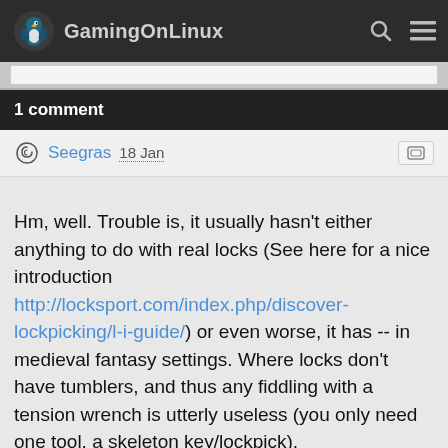GamingOnLinux
1 comment
Seegras 18 Jan
Hm, well. Trouble is, it usually hasn't either anything to do with real locks (See here for a nice introduction http://locksport.com/index.php/discover-lockpicking/l-i-guide/) or even worse, it has -- in medieval fantasy settings. Where locks don't have tumblers, and thus any fiddling with a tension wrench is utterly useless (you only need one tool, a skeleton key/lockpick).

As an example:
https://www.historicallocks.com/en/site/h/articles/the-history-of-padlocks/swedish-middle-ages-1050-1520/
(This is, by the way, the definitive site for historical